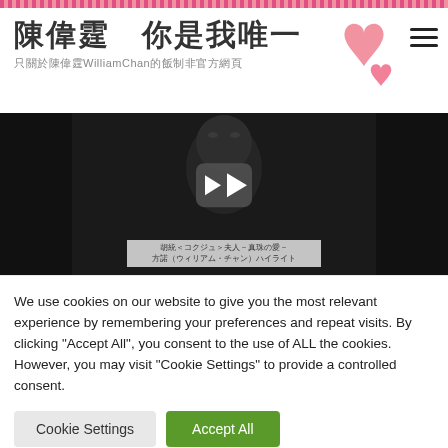陳偉霆　你是我唯一
只關於陳偉霆WilliamChan的飯制非官方網頁
[Figure (screenshot): Video thumbnail showing a dark scene with a play button overlay. At the bottom center is a caption box with Japanese text: 胡統＜コクジュ＞夫人－真珠の愛－ 方諾（ウィリアム・チャン）ハイライト]
We use cookies on our website to give you the most relevant experience by remembering your preferences and repeat visits. By clicking "Accept All", you consent to the use of ALL the cookies. However, you may visit "Cookie Settings" to provide a controlled consent.
Cookie Settings
Accept All